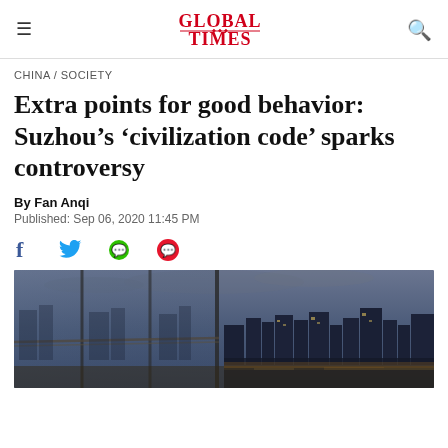Global Times
CHINA / SOCIETY
Extra points for good behavior: Suzhou’s ‘civilization code’ sparks controversy
By Fan Anqi
Published: Sep 06, 2020 11:45 PM
[Figure (photo): Nighttime cityscape of Suzhou viewed through glass windows, showing city lights and a bridge in the foreground with illuminated skyline in the background against a cloudy blue-grey sky.]